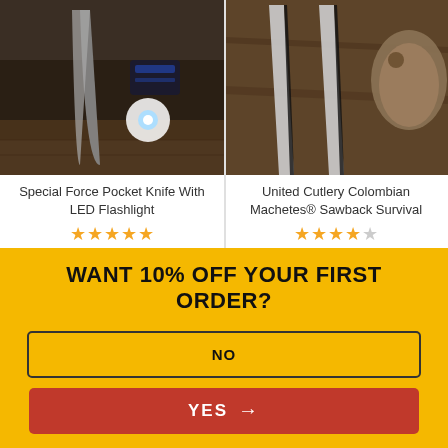[Figure (photo): Special Force Pocket Knife with LED Flashlight product photo on wooden background]
[Figure (photo): United Cutlery Colombian Machetes Sawback Survival product photo with animal fur]
Special Force Pocket Knife With LED Flashlight
★★★★★ (4.5 stars)
$14.99  $9.98!
United Cutlery Colombian Machetes® Sawback Survival
★★★★☆ (4 stars)
$24.99  $19.98!
[Figure (photo): Partially visible knife product photo bottom left]
[Figure (photo): Shinwa brand katana sword photo bottom right with logo]
WANT 10% OFF YOUR FIRST ORDER?
NO
YES →